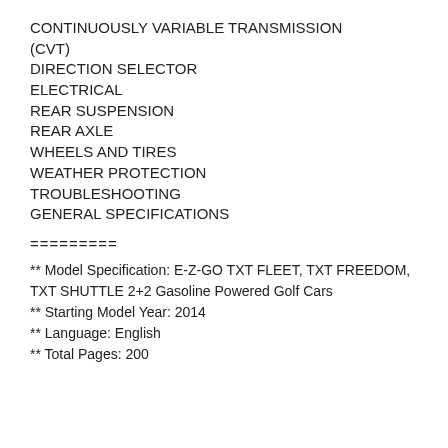CONTINUOUSLY VARIABLE TRANSMISSION (CVT)
DIRECTION SELECTOR
ELECTRICAL
REAR SUSPENSION
REAR AXLE
WHEELS AND TIRES
WEATHER PROTECTION
TROUBLESHOOTING
GENERAL SPECIFICATIONS
=========
** Model Specification: E-Z-GO TXT FLEET, TXT FREEDOM, TXT SHUTTLE 2+2 Gasoline Powered Golf Cars
** Starting Model Year: 2014
** Language: English
** Total Pages: 200